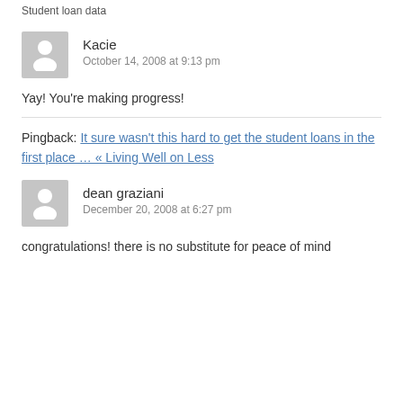Student loan data
Kacie
October 14, 2008 at 9:13 pm
Yay! You're making progress!
Pingback: It sure wasn't this hard to get the student loans in the first place … « Living Well on Less
dean graziani
December 20, 2008 at 6:27 pm
congratulations! there is no substitute for peace of mind